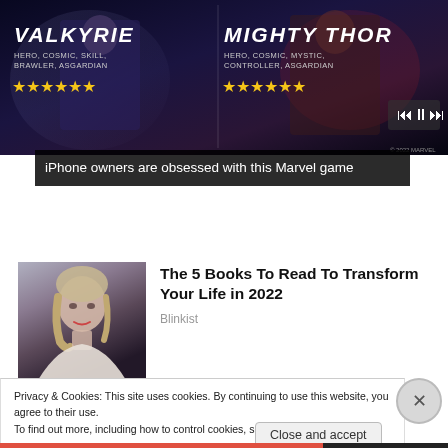[Figure (screenshot): Marvel game advertisement banner showing Valkyrie and Mighty Thor characters with star ratings]
iPhone owners are obsessed with this Marvel game
[Figure (photo): Thumbnail photo of a blonde woman looking to the side]
The 5 Books To Read To Transform Your Life in 2022
Blinkist
Privacy & Cookies: This site uses cookies. By continuing to use this website, you agree to their use.
To find out more, including how to control cookies, see here: Cookie Policy
Close and accept